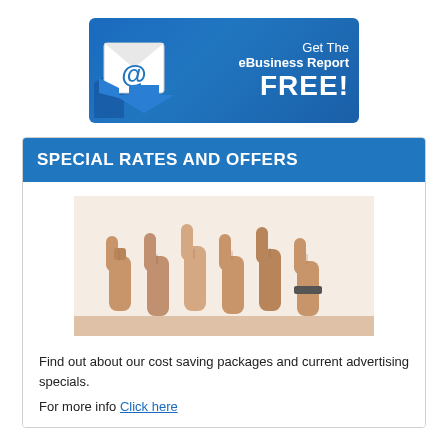[Figure (infographic): Blue banner graphic with an email envelope icon showing an @ symbol and blue arrows, with white text reading 'Get The eBusiness Report FREE!']
SPECIAL RATES AND OFFERS
[Figure (photo): Photo of multiple hands giving thumbs up gesture against a white background]
Find out about our cost saving packages and current advertising specials.
For more info Click here